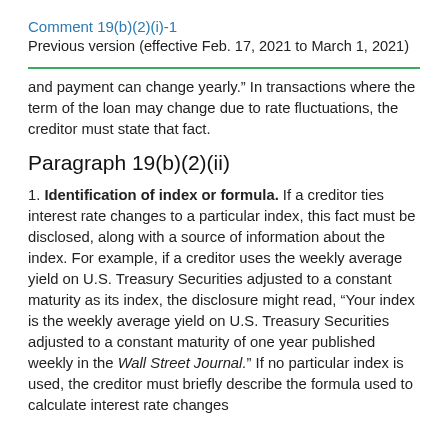Comment 19(b)(2)(i)-1
Previous version (effective Feb. 17, 2021 to March 1, 2021)
and payment can change yearly.” In transactions where the term of the loan may change due to rate fluctuations, the creditor must state that fact.
Paragraph 19(b)(2)(ii)
1. Identification of index or formula. If a creditor ties interest rate changes to a particular index, this fact must be disclosed, along with a source of information about the index. For example, if a creditor uses the weekly average yield on U.S. Treasury Securities adjusted to a constant maturity as its index, the disclosure might read, “Your index is the weekly average yield on U.S. Treasury Securities adjusted to a constant maturity of one year published weekly in the Wall Street Journal.” If no particular index is used, the creditor must briefly describe the formula used to calculate interest rate changes.